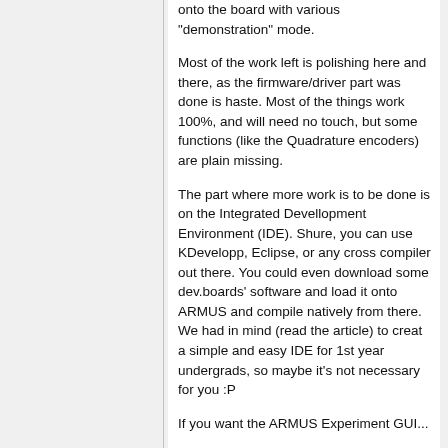onto the board with various "demonstration" mode.
Most of the work left is polishing here and there, as the firmware/driver part was done is haste. Most of the things work 100%, and will need no touch, but some functions (like the Quadrature encoders) are plain missing.
The part where more work is to be done is on the Integrated Devellopment Environment (IDE). Shure, you can use KDevelopp, Eclipse, or any cross compiler out there. You could even download some dev.boards' software and load it onto ARMUS and compile natively from there. We had in mind (read the article) to creat a simple and easy IDE for 1st year undergrads, so maybe it's not necessary for you :P